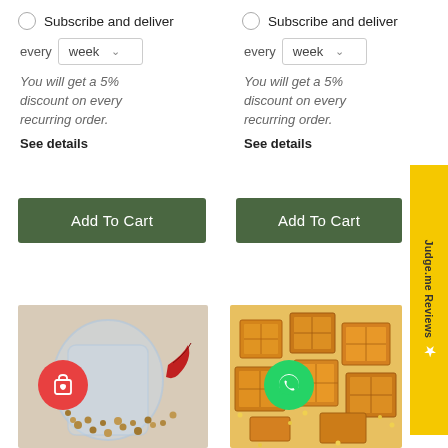Subscribe and deliver
every week
You will get a 5% discount on every recurring order.
See details
Add To Cart
Subscribe and deliver
every week
You will get a 5% discount on every recurring order.
See details
Add To Cart
[Figure (photo): Spices and coriander seeds spilling from a glass jar with dried red chillies in background]
[Figure (photo): Golden fried snack crackers/mathri in a plate with dal/lentils scattered around]